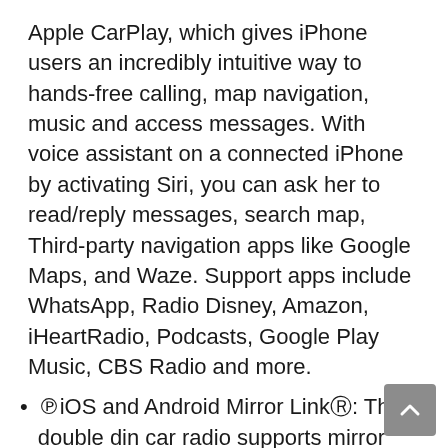Apple CarPlay, which gives iPhone users an incredibly intuitive way to hands-free calling, map navigation, music and access messages. With voice assistant on a connected iPhone by activating Siri, you can ask her to read/reply messages, search map, Third-party navigation apps like Google Maps, and Waze. Support apps include WhatsApp, Radio Disney, Amazon, iHeartRadio, Podcasts, Google Play Music, CBS Radio and more.
iOS and Android Mirror Link®: The double din car radio supports mirror link on phones android 11 & iPhone 12pro, iPhone12, iPhone 11, iPhone X and below, Android/other mobile.